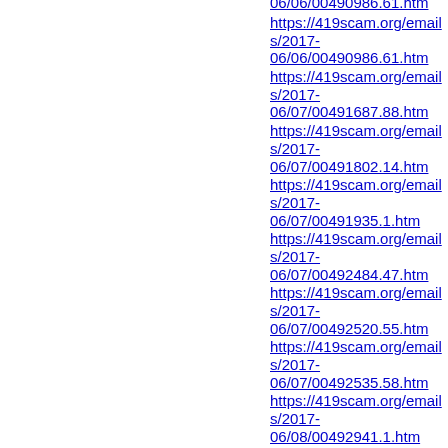https://419scam.org/emails/2017-06/06/00490986.61.htm
https://419scam.org/emails/2017-06/07/00491687.88.htm
https://419scam.org/emails/2017-06/07/00491802.14.htm
https://419scam.org/emails/2017-06/07/00491935.1.htm
https://419scam.org/emails/2017-06/07/00492484.47.htm
https://419scam.org/emails/2017-06/07/00492520.55.htm
https://419scam.org/emails/2017-06/07/00492535.58.htm
https://419scam.org/emails/2017-06/08/00492941.1.htm
https://419scam.org/emails/2017-06/08/00493287.6.htm
https://419scam.org/emails/2017-06/08/00493420.75.htm
https://419scam.org/emails/2017-06/09/00494921.102.htm
https://419scam.org/emails/2017-06/09/00495573.2.htm
https://419scam.org/emails/2017-...